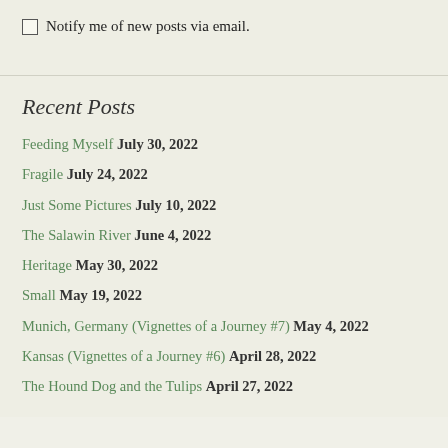Notify me of new posts via email.
Recent Posts
Feeding Myself July 30, 2022
Fragile July 24, 2022
Just Some Pictures July 10, 2022
The Salawin River June 4, 2022
Heritage May 30, 2022
Small May 19, 2022
Munich, Germany (Vignettes of a Journey #7) May 4, 2022
Kansas (Vignettes of a Journey #6) April 28, 2022
The Hound Dog and the Tulips April 27, 2022